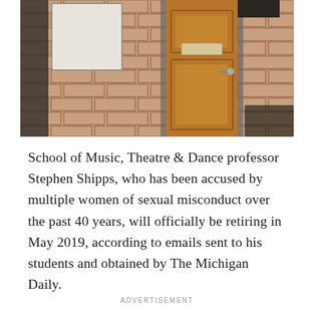[Figure (photo): Interior hallway photo showing a wooden door set in a brick wall, with a whiteboard or bulletin board visible to the left side of the door, a small nameplate or sign on the door, and a dark wall panel above. Brick wall texture visible throughout.]
School of Music, Theatre & Dance professor Stephen Shipps, who has been accused by multiple women of sexual misconduct over the past 40 years, will officially be retiring in May 2019, according to emails sent to his students and obtained by The Michigan Daily.
ADVERTISEMENT